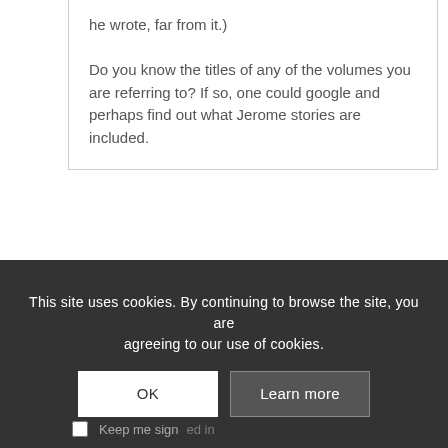he wrote, far from it.) Do you know the titles of any of the volumes you are referring to? If so, one could google and perhaps find out what Jerome stories are included.
You must be logged in to reply to this topic.
Username:
This site uses cookies. By continuing to browse the site, you are agreeing to our use of cookies.
OK
Learn more
Keep me signed in